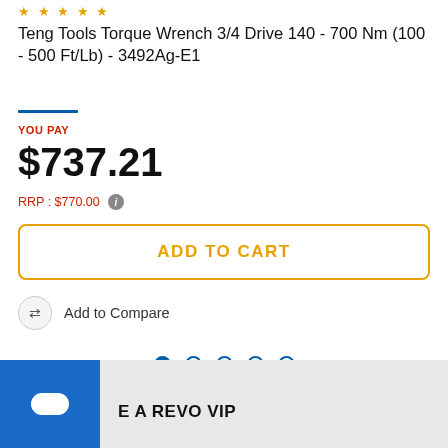Teng Tools Torque Wrench 3/4 Drive 140 - 700 Nm (100 - 500 Ft/Lb) - 3492Ag-E1
YOU PAY
$737.21
RRP : $770.00
ADD TO CART
Add to Compare
[Figure (other): Carousel pagination dots: one filled blue circle followed by four empty blue circle outlines]
E A REVO VIP